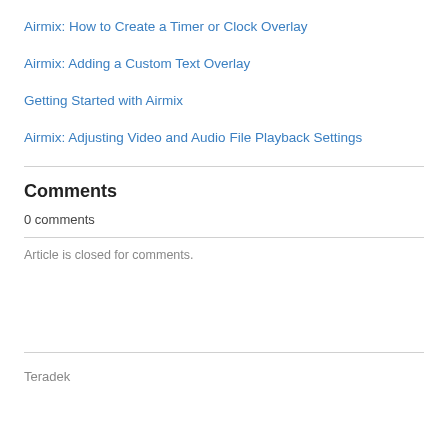Airmix: How to Create a Timer or Clock Overlay
Airmix: Adding a Custom Text Overlay
Getting Started with Airmix
Airmix: Adjusting Video and Audio File Playback Settings
Comments
0 comments
Article is closed for comments.
Teradek